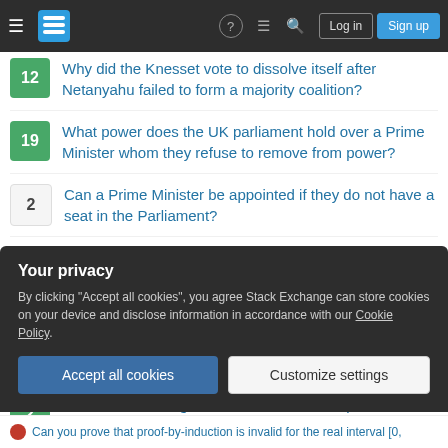Stack Exchange navigation bar with hamburger menu, logo, help, chat, search icons, Log in and Sign up buttons
12 Why did the Knesset vote to dissolve itself after Netanyahu failed to form a majority coalition?
19 What power does the UK parliament hold over a Prime Minister whom they refuse to remove from power?
2 Can a Prime Minister be appointed if they do not have a seat in the Parliament?
7 Has AKP ever failed to pass any bill after losing majority in Turkish Parliament?
4 In parliamentary democracies, what are the pros and cons of giving the government the power to dissolve parliament?
2 Can the Swedish government dissolve the parliament while
Your privacy
By clicking "Accept all cookies", you agree Stack Exchange can store cookies on your device and disclose information in accordance with our Cookie Policy.
Accept all cookies  Customize settings
Can you prove that proof-by-induction is invalid for the real interval [0,